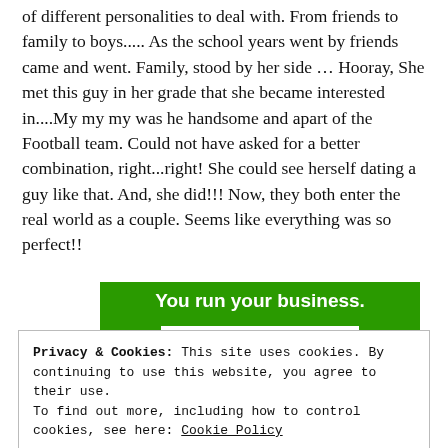of different personalities to deal with. From friends to family to boys..... As the school years went by friends came and went. Family, stood by her side ... Hooray, She met this guy in her grade that she became interested in....My my my was he handsome and apart of the Football team. Could not have asked for a better combination, right...right! She could see herself dating a guy like that. And, she did!!! Now, they both enter the real world as a couple. Seems like everything was so perfect!!
[Figure (other): Green advertisement banner with white bold text 'You run your business.' and a white button labeled 'Secure Your Site']
Privacy & Cookies: This site uses cookies. By continuing to use this website, you agree to their use.
To find out more, including how to control cookies, see here: Cookie Policy

Close and accept